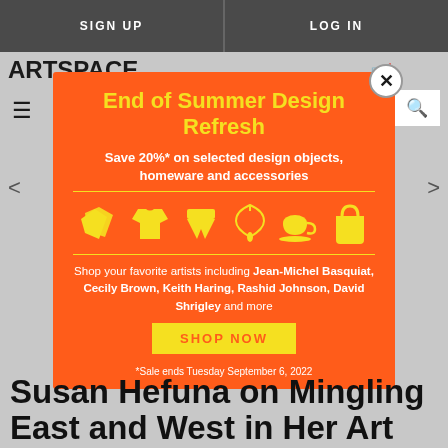SIGN UP    LOG IN
[Figure (screenshot): Artspace website screenshot with navigation bar showing ARTSPACE logo, hamburger menu, cart and search icons, and a partially visible article page]
[Figure (infographic): Orange promotional modal popup: 'End of Summer Design Refresh - Save 20%* on selected design objects, homeware and accessories' with yellow icons of cushions, t-shirt, shorts, necklace, cup, and bag, text listing artists Jean-Michel Basquiat, Cecily Brown, Keith Haring, Rashid Johnson, David Shrigley, SHOP NOW button, and footnote '*Sale ends Tuesday September 6, 2022']
Susan Hefuna on Mingling East and West in Her Art